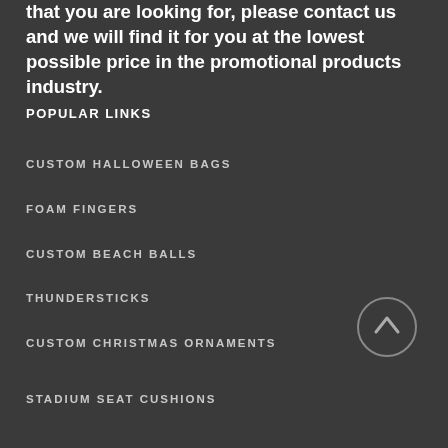that you are looking for, please contact us and we will find it for you at the lowest possible price in the promotional products industry.
POPULAR LINKS
CUSTOM HALLOWEEN BAGS
FOAM FINGERS
CUSTOM BEACH BALLS
THUNDERSTICKS
CUSTOM CHRISTMAS ORNAMENTS
STADIUM SEAT CUSHIONS